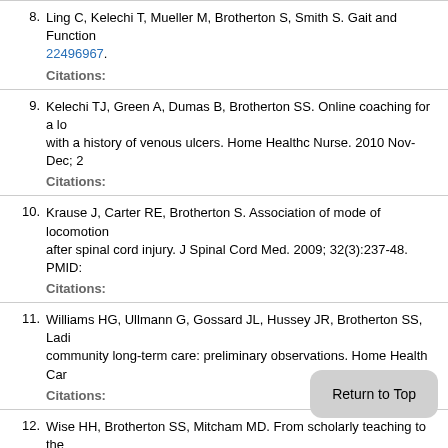8. Ling C, Kelechi T, Mueller M, Brotherton S, Smith S. Gait and Function... 22496967. Citations:
9. Kelechi TJ, Green A, Dumas B, Brotherton SS. Online coaching for a lo... with a history of venous ulcers. Home Healthc Nurse. 2010 Nov-Dec; 2... Citations:
10. Krause J, Carter RE, Brotherton S. Association of mode of locomotion ... after spinal cord injury. J Spinal Cord Med. 2009; 32(3):237-48. PMID:... Citations:
11. Williams HG, Ullmann G, Gossard JL, Hussey JR, Brotherton SS, Ladi... community long-term care: preliminary observations. Home Health Car... Citations:
12. Wise HH, Brotherton SS, Mitcham MD. From scholarly teaching to the ... that foster the transition of scholarly work in allied health into credible f... PMID: 19753389. Citations: